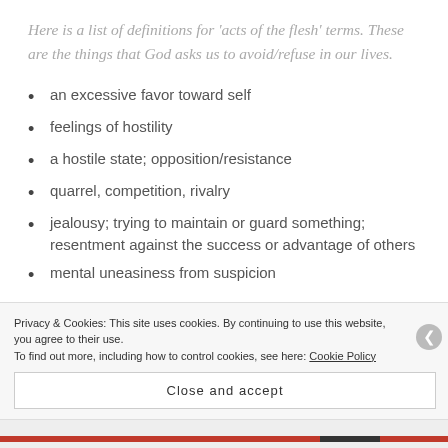Here is a list of definitions for 'acts of the flesh' terms. These are the things that God asks us to avoid/refuse in our lives.
an excessive favor toward self
feelings of hostility
a hostile state; opposition/resistance
quarrel, competition, rivalry
jealousy; trying to maintain or guard something; resentment against the success or advantage of others
mental uneasiness from suspicion
Privacy & Cookies: This site uses cookies. By continuing to use this website, you agree to their use.
To find out more, including how to control cookies, see here: Cookie Policy
Close and accept